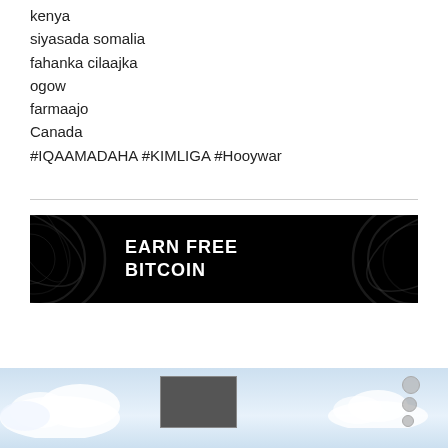kenya
siyasada somalia
fahanka cilaajka
ogow
farmaajo
Canada
#IQAAMADAHA #KIMLIGA #Hooywar
[Figure (illustration): Advertisement banner with black background and white bold text reading EARN FREE BITCOIN, with decorative swirl patterns on the left and right sides]
[Figure (photo): Partial view of a sky scene with clouds, and a video player overlay showing a dark thumbnail and playback controls on the right side]